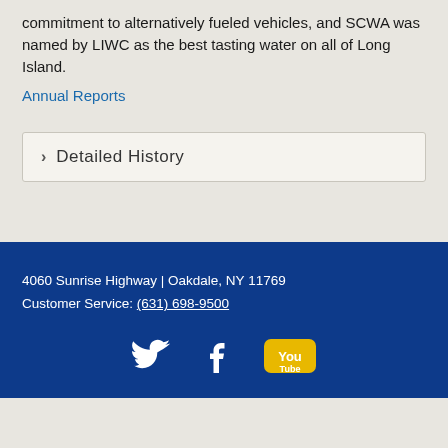commitment to alternatively fueled vehicles, and SCWA was named by LIWC as the best tasting water on all of Long Island.
Annual Reports
> Detailed History
4060 Sunrise Highway | Oakdale, NY 11769
Customer Service: (631) 698-9500